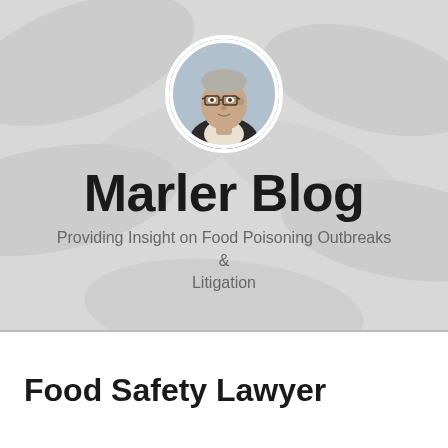[Figure (photo): Circular portrait photo of a middle-aged man with glasses and gray hair wearing a dark jacket, centered in the header area]
Marler Blog
Providing Insight on Food Poisoning Outbreaks & Litigation
Food Safety Lawyer